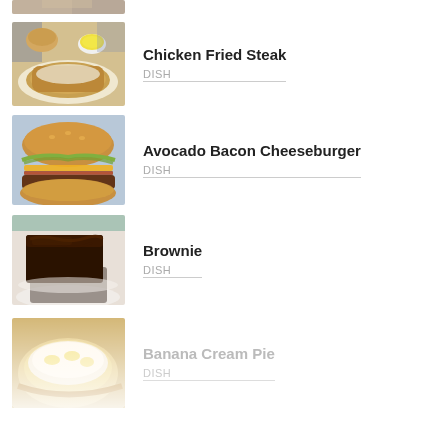[Figure (photo): Partial top view of a food dish image (cut off at top of page)]
Chicken Fried Steak - DISH
Avocado Bacon Cheeseburger - DISH
Brownie - DISH
Banana Cream Pie - DISH (faded/loading)